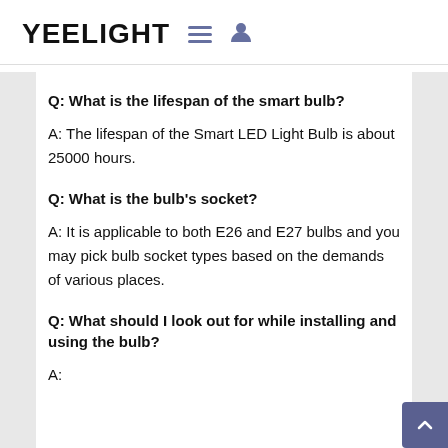YEELIGHT
Q: What is the lifespan of the smart bulb?
A: The lifespan of the Smart LED Light Bulb is about 25000 hours.
Q: What is the bulb's socket?
A: It is applicable to both E26 and E27 bulbs and you may pick bulb socket types based on the demands of various places.
Q: What should I look out for while installing and using the bulb?
A: